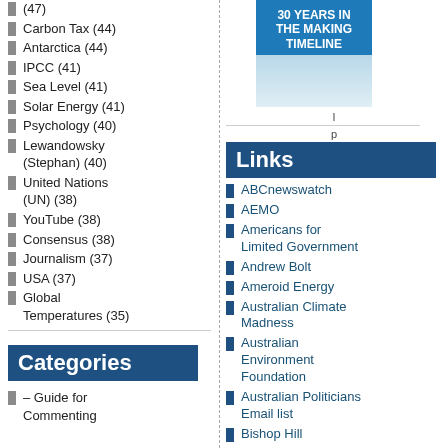(47)
Carbon Tax (44)
Antarctica (44)
IPCC (41)
Sea Level (41)
Solar Energy (41)
Psychology (40)
Lewandowsky (Stephan) (40)
United Nations (UN) (38)
YouTube (38)
Consensus (38)
Journalism (37)
USA (37)
Global Temperatures (35)
Categories
– Guide for Commenting
[Figure (illustration): 30 Years in the Making Timeline book/poster graphic with blue header and colorful timeline content below]
Links
ABCnewswatch
AEMO
Americans for Limited Government
Andrew Bolt
Ameroid Energy
Australian Climate Madness
Australian Environment Foundation
Australian Politicians Email list
Bishop Hill